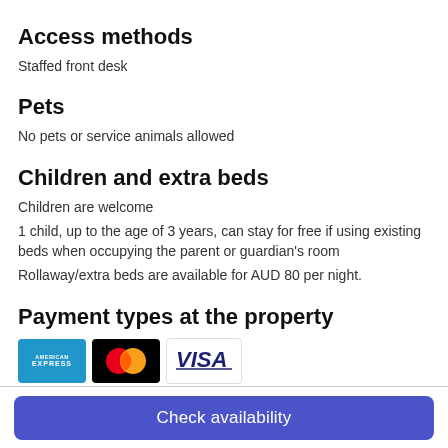Access methods
Staffed front desk
Pets
No pets or service animals allowed
Children and extra beds
Children are welcome
1 child, up to the age of 3 years, can stay for free if using existing beds when occupying the parent or guardian's room
Rollaway/extra beds are available for AUD 80 per night.
Payment types at the property
[Figure (logo): Payment card logos: American Express, Mastercard, Visa]
Check availability